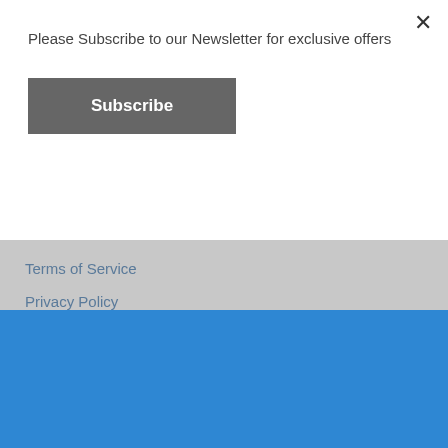Please Subscribe to our Newsletter for exclusive offers
Subscribe
×
Terms of Service
Privacy Policy
Refund and Return Policy
© 2022 kjdElectronics | Shopify Theme by Mile High Themes | Powered by
Subscribe to updates for exclusive offers and discounts
Subscribe now
×